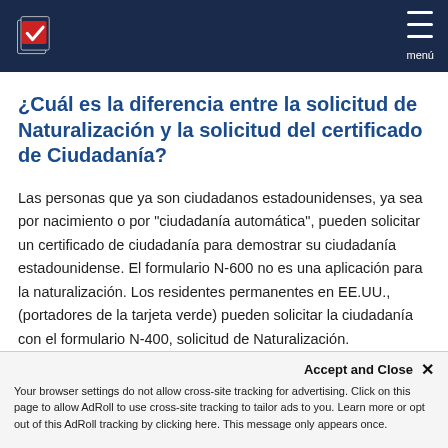menú
¿Cuál es la diferencia entre la solicitud de Naturalización y la solicitud del certificado de Ciudadanía?
Las personas que ya son ciudadanos estadounidenses, ya sea por nacimiento o por "ciudadanía automática", pueden solicitar un certificado de ciudadanía para demostrar su ciudadanía estadounidense. El formulario N-600 no es una aplicación para la naturalización. Los residentes permanentes en EE.UU., (portadores de la tarjeta verde) pueden solicitar la ciudadanía con el formulario N-400, solicitud de Naturalización.
Accept and Close ✕ Your browser settings do not allow cross-site tracking for advertising. Click on this page to allow AdRoll to use cross-site tracking to tailor ads to you. Learn more or opt out of this AdRoll tracking by clicking here. This message only appears once.